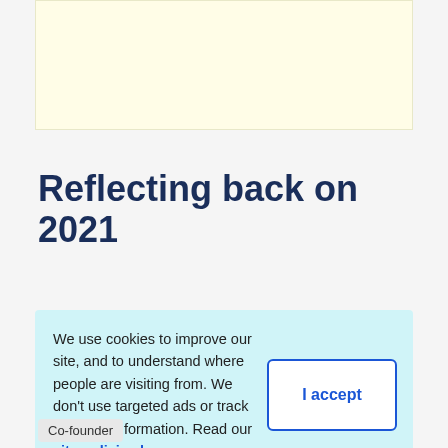[Figure (other): Yellow banner/advertisement placeholder at top of page]
Reflecting back on 2021
We use cookies to improve our site, and to understand where people are visiting from. We don’t use targeted ads or track personal information. Read our site policies here.
Co-founder